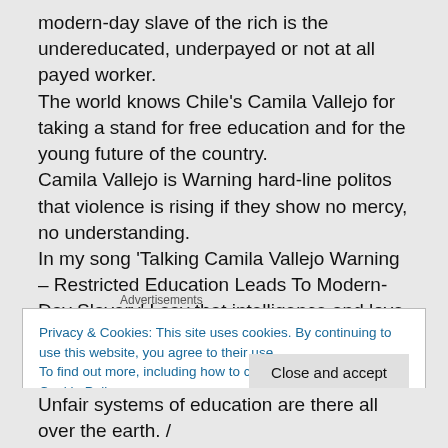modern-day slave of the rich is the undereducated, underpayed or not at all payed worker. The world knows Chile's Camila Vallejo for taking a stand for free education and for the young future of the country. Camila Vallejo is Warning hard-line politos that violence is rising if they show no mercy, no understanding. In my song 'Talking Camila Vallejo Warning – Restricted Education Leads To Modern-Day Slavery' I say that intelligence and love are God's freedom gifts for all humanity. That's why education must be free everywhere for humanity to unfold."
Advertisements
Privacy & Cookies: This site uses cookies. By continuing to use this website, you agree to their use.
To find out more, including how to control cookies, see here: Cookie Policy
Close and accept
Unfair systems of education are there all over the earth. /